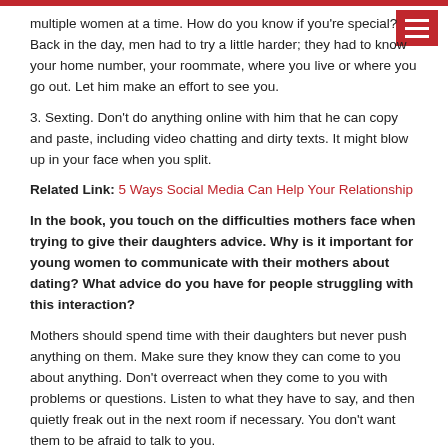multiple women at a time. How do you know if you're special? Back in the day, men had to try a little harder; they had to know your home number, your roommate, where you live or where you go out. Let him make an effort to see you.
3. Sexting. Don't do anything online with him that he can copy and paste, including video chatting and dirty texts. It might blow up in your face when you split.
Related Link: 5 Ways Social Media Can Help Your Relationship
In the book, you touch on the difficulties mothers face when trying to give their daughters advice. Why is it important for young women to communicate with their mothers about dating? What advice do you have for people struggling with this interaction?
Mothers should spend time with their daughters but never push anything on them. Make sure they know they can come to you about anything. Don't overreact when they come to you with problems or questions. Listen to what they have to say, and then quietly freak out in the next room if necessary. You don't want them to be afraid to talk to you.
What is the most important thing you learned from writing the newest installment of The Rules?